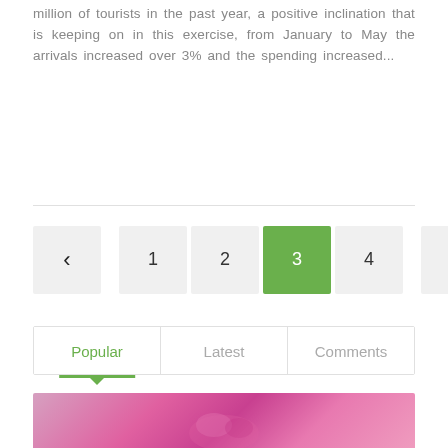million of tourists in the past year, a positive inclination that is keeping on in this exercise, from January to May the arrivals increased over 3% and the spending increased...
[Figure (other): Pagination navigation bar with previous arrow, page numbers 1, 2, 3 (active/highlighted in green), 4, and next arrow]
[Figure (other): Tab navigation with three tabs: Popular (active, green underline with arrow), Latest, Comments]
[Figure (photo): Partial photo strip showing pink/magenta colored subject, likely a flower or object]